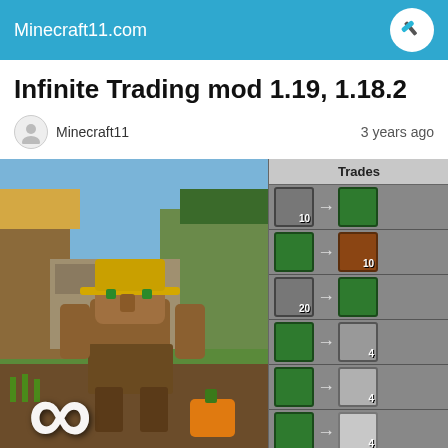Minecraft11.com
Infinite Trading mod 1.19, 1.18.2
Minecraft11   3 years ago
[Figure (screenshot): Minecraft villager farmer screenshot with infinity symbol overlay on the left, and a Trades panel on the right showing multiple trade rows with items and arrows]
Trades panel showing various villager trades including gem-to-item and item-to-gem exchanges